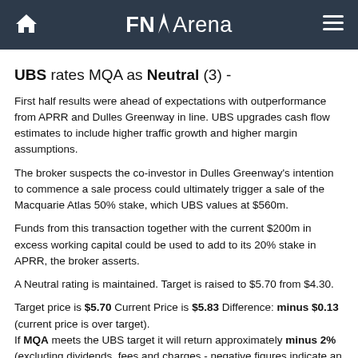FNArena
UBS rates MQA as Neutral (3) -
First half results were ahead of expectations with outperformance from APRR and Dulles Greenway in line. UBS upgrades cash flow estimates to include higher traffic growth and higher margin assumptions.
The broker suspects the co-investor in Dulles Greenway's intention to commence a sale process could ultimately trigger a sale of the Macquarie Atlas 50% stake, which UBS values at $560m.
Funds from this transaction together with the current $200m in excess working capital could be used to add to its 20% stake in APRR, the broker asserts.
A Neutral rating is maintained. Target is raised to $5.70 from $4.30.
Target price is $5.70 Current Price is $5.83 Difference: minus $0.13 (current price is over target).
If MQA meets the UBS target it will return approximately minus 2% (excluding dividends, fees and charges - negative figures indicate an expected loss).
Current consensus price target is $5.09, suggesting upside of 6.6%